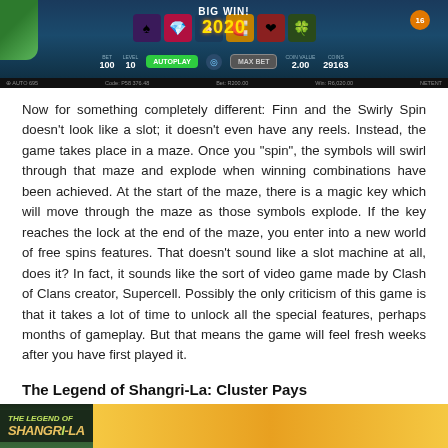[Figure (screenshot): Screenshot of Finn and the Swirly Spin slot game showing BIG WIN! 2020 display with game symbols, AUTOPLAY button, MAX BET button, coin value 2.00, coins 29163, level 10, bet 100]
Now for something completely different: Finn and the Swirly Spin doesn't look like a slot; it doesn't even have any reels. Instead, the game takes place in a maze. Once you “spin”, the symbols will swirl through that maze and explode when winning combinations have been achieved. At the start of the maze, there is a magic key which will move through the maze as those symbols explode. If the key reaches the lock at the end of the maze, you enter into a new world of free spins features. That doesn’t sound like a slot machine at all, does it? In fact, it sounds like the sort of video game made by Clash of Clans creator, Supercell. Possibly the only criticism of this game is that it takes a lot of time to unlock all the special features, perhaps months of gameplay. But that means the game will feel fresh weeks after you have first played it.
The Legend of Shangri-La: Cluster Pays
[Figure (screenshot): Bottom portion of The Legend of Shangri-La: Cluster Pays game screenshot showing the game logo and golden/floral game interface]